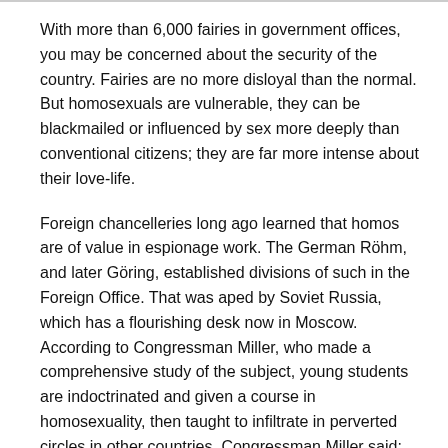With more than 6,000 fairies in government offices, you may be concerned about the security of the country. Fairies are no more disloyal than the normal. But homosexuals are vulnerable, they can be blackmailed or influenced by sex more deeply than conventional citizens; they are far more intense about their love-life.
Foreign chancelleries long ago learned that homos are of value in espionage work. The German Röhm, and later Göring, established divisions of such in the Foreign Office. That was aped by Soviet Russia, which has a flourishing desk now in Moscow. According to Congressman Miller, who made a comprehensive study of the subject, young students are indoctrinated and given a course in homosexuality, then taught to infiltrate in perverted circles in other countries. Congressman Miller said: